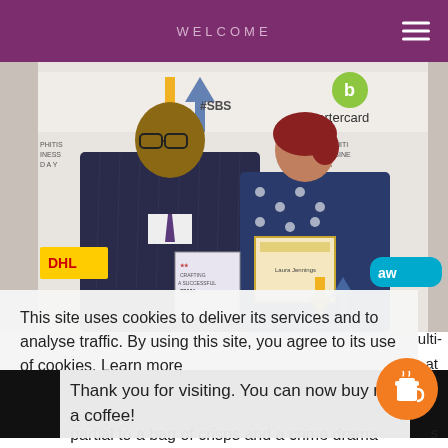WELCOME
[Figure (photo): Two people posing together at a #SBS (Theo Paphitis Small Business Sunday) event. One person in a pinstripe suit holds a book titled 'Crafting a Successful Small...' and the other holds a certificate. Bartercard and #SBS logos visible in background.]
This site uses cookies to deliver its services and to analyse traffic. By using this site, you agree to its use of cookies. Learn more
Thank you for visiting. You can now buy me a coffee!
partial to a bag of crisps and a crime drama